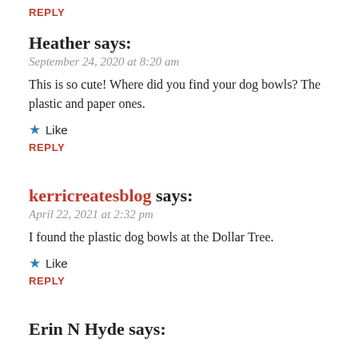REPLY
Heather says:
September 24, 2020 at 8:20 am
This is so cute! Where did you find your dog bowls? The plastic and paper ones.
★ Like
REPLY
kerricreatesblog says:
April 22, 2021 at 2:32 pm
I found the plastic dog bowls at the Dollar Tree.
★ Like
REPLY
Erin N Hyde says: